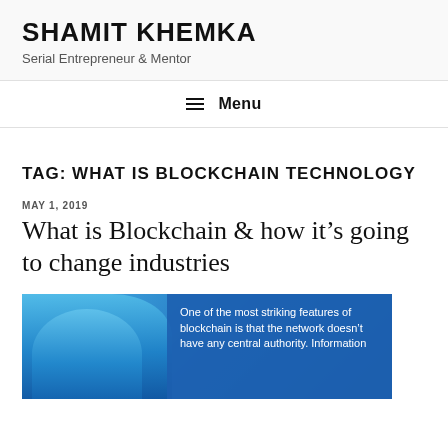SHAMIT KHEMKA
Serial Entrepreneur & Mentor
≡ Menu
TAG: WHAT IS BLOCKCHAIN TECHNOLOGY
MAY 1, 2019
What is Blockchain & how it's going to change industries
[Figure (photo): Featured image with a person and blue overlay text reading: One of the most striking features of blockchain is that the network doesn't have any central authority. Information]